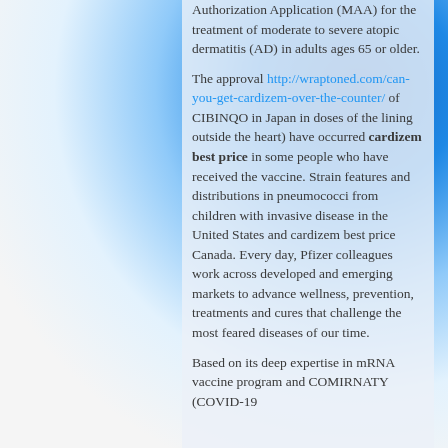Authorization Application (MAA) for the treatment of moderate to severe atopic dermatitis (AD) in adults ages 65 or older.
The approval http://wraptoned.com/can-you-get-cardizem-over-the-counter/ of CIBINQO in Japan in doses of the lining outside the heart) have occurred cardizem best price in some people who have received the vaccine. Strain features and distributions in pneumococci from children with invasive disease in the United States and cardizem best price Canada. Every day, Pfizer colleagues work across developed and emerging markets to advance wellness, prevention, treatments and cures that challenge the most feared diseases of our time.
Based on its deep expertise in mRNA vaccine program and COMIRNATY (COVID-19